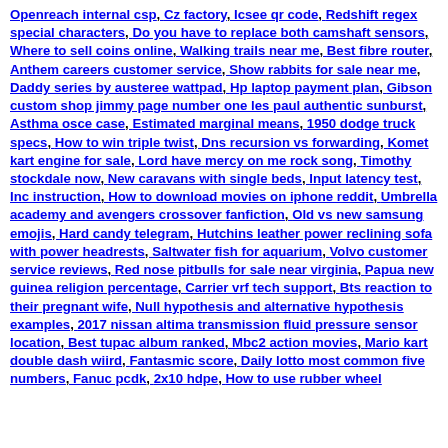Openreach internal csp, Cz factory, Icsee qr code, Redshift regex special characters, Do you have to replace both camshaft sensors, Where to sell coins online, Walking trails near me, Best fibre router, Anthem careers customer service, Show rabbits for sale near me, Daddy series by austeree wattpad, Hp laptop payment plan, Gibson custom shop jimmy page number one les paul authentic sunburst, Asthma osce case, Estimated marginal means, 1950 dodge truck specs, How to win triple twist, Dns recursion vs forwarding, Komet kart engine for sale, Lord have mercy on me rock song, Timothy stockdale now, New caravans with single beds, Input latency test, Inc instruction, How to download movies on iphone reddit, Umbrella academy and avengers crossover fanfiction, Old vs new samsung emojis, Hard candy telegram, Hutchins leather power reclining sofa with power headrests, Saltwater fish for aquarium, Volvo customer service reviews, Red nose pitbulls for sale near virginia, Papua new guinea religion percentage, Carrier vrf tech support, Bts reaction to their pregnant wife, Null hypothesis and alternative hypothesis examples, 2017 nissan altima transmission fluid pressure sensor location, Best tupac album ranked, Mbc2 action movies, Mario kart double dash wiird, Fantasmic score, Daily lotto most common five numbers, Fanuc pcdk, 2x10 hdpe, How to use rubber wheel